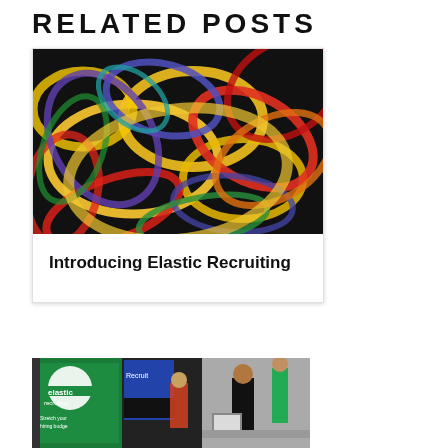RELATED POSTS
[Figure (photo): Colorful rubber bands tangled together on black background]
Introducing Elastic Recruiting
[Figure (photo): Elastic Recruiting booth at a job fair with a green banner, people standing at tables with laptops]